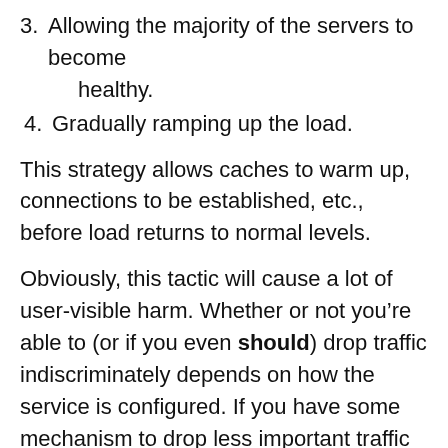3. Allowing the majority of the servers to become healthy.
4. Gradually ramping up the load.
This strategy allows caches to warm up, connections to be established, etc., before load returns to normal levels.
Obviously, this tactic will cause a lot of user-visible harm. Whether or not you’re able to (or if you even should) drop traffic indiscriminately depends on how the service is configured. If you have some mechanism to drop less important traffic (e.g., prefetching), use that mechanism first.
It is important to keep in mind that this strategy enables you to recover from a cascading outage once the underlying problem is fixed. If the issue that